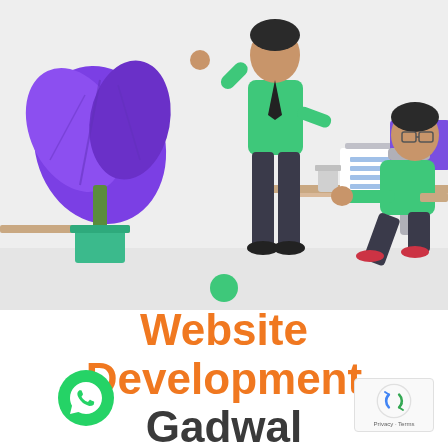[Figure (illustration): Flat-style illustration of two people working: one person standing wearing a green shirt and dark pants pointing upward, another person sitting at a desk using a laptop/tablet. A purple plant is on the left side. Background is light gray. A teal/green dot is visible at the bottom center of the illustration.]
Website Development Gadwal